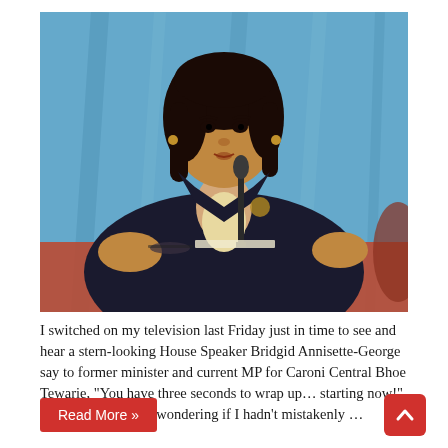[Figure (photo): A woman in a dark blazer sitting at a table with a microphone, speaking with her hands raised, against a blue curtain background. Identified as House Speaker Bridgid Annisette-George.]
I switched on my television last Friday just in time to see and hear a stern-looking House Speaker Bridgid Annisette-George say to former minister and current MP for Caroni Central Bhoe Tewarie, "You have three seconds to wrap up… starting now!" I did a double-take, wondering if I hadn't mistakenly …